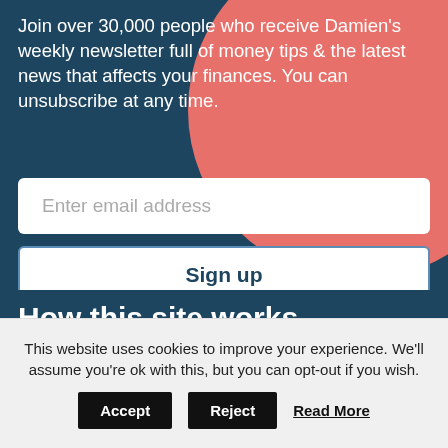Join over 30,000 people who receive Damien's weekly newsletter full of money tips & the latest news that affects your finances. You can unsubscribe at any time.
[Figure (other): Email signup form with input field and Sign up button on dark blue background with salmon circle decoration]
How this site works...
The material on the Money to the Masses website,
This website uses cookies to improve your experience. We'll assume you're ok with this, but you can opt-out if you wish.